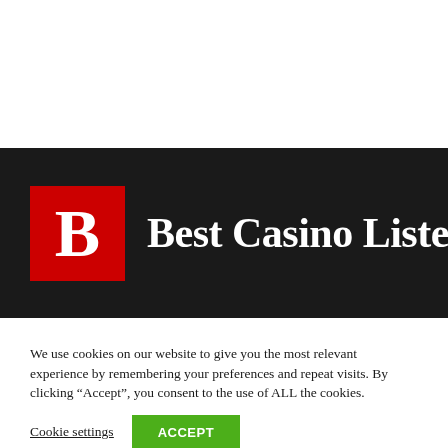[Figure (logo): Best Casino Liste logo: red square with bold white B, followed by white bold serif text 'Best Casino Liste' on dark background]
We use cookies on our website to give you the most relevant experience by remembering your preferences and repeat visits. By clicking “Accept”, you consent to the use of ALL the cookies.
Cookie settings
ACCEPT